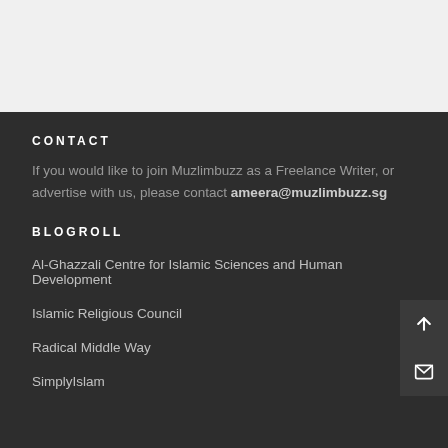CONTACT
If you would like to join Muzlimbuzz as a Freelance Writer, or advertise with us, please contact ameera@muzlimbuzz.sg
BLOGROLL
Al-Ghazzali Centre for Islamic Sciences and Human Development
Islamic Religious Council
Radical Middle Way
SimplyIslam